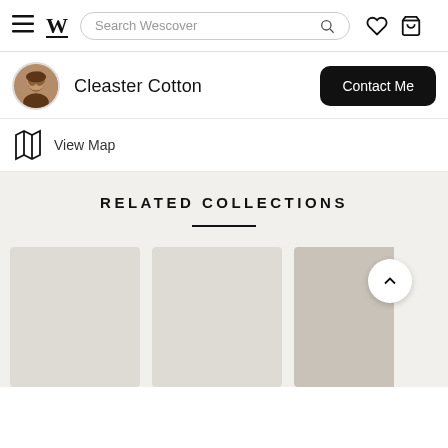Search Wescover
Cleaster Cotton
Contact Me
View Map
RELATED COLLECTIONS
[Figure (photo): Three product collection cards shown in a horizontal row with muted beige/taupe colors. Third card partially visible with a back-to-top arrow button.]